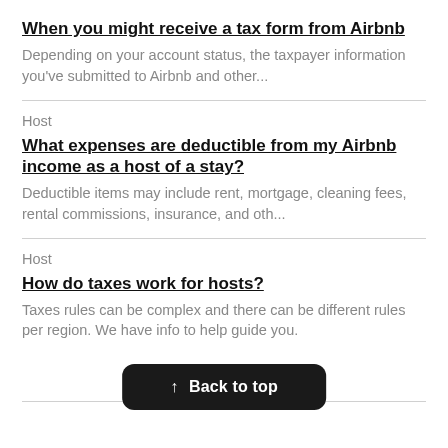When you might receive a tax form from Airbnb
Depending on your account status, the taxpayer information you've submitted to Airbnb and other...
Host
What expenses are deductible from my Airbnb income as a host of a stay?
Deductible items may include rent, mortgage, cleaning fees, rental commissions, insurance, and oth...
Host
How do taxes work for hosts?
Taxes rules can be complex and there can be different rules per region. We have info to help guide you.
↑ Back to top